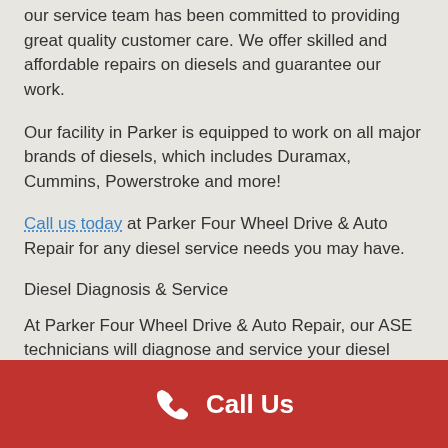our service team has been committed to providing great quality customer care. We offer skilled and affordable repairs on diesels and guarantee our work.
Our facility in Parker is equipped to work on all major brands of diesels, which includes Duramax, Cummins, Powerstroke and more!
Call us today at Parker Four Wheel Drive & Auto Repair for any diesel service needs you may have.
Diesel Diagnosis & Service
At Parker Four Wheel Drive & Auto Repair, our ASE technicians will diagnose and service your diesel vehicle quickly and accurately. We also encourage our
Call Us